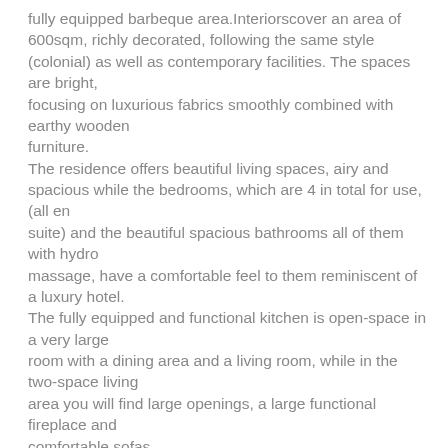fully equipped barbeque area.Interiorscover an area of 600sqm, richly decorated, following the same style (colonial) as well as contemporary facilities. The spaces are bright, focusing on luxurious fabrics smoothly combined with earthy wooden furniture. The residence offers beautiful living spaces, airy and spacious while the bedrooms, which are 4 in total for use, (all en suite) and the beautiful spacious bathrooms all of them with hydro massage, have a comfortable feel to them reminiscent of a luxury hotel. The fully equipped and functional kitchen is open-space in a very large room with a dining area and a living room, while in the two-space living area you will find large openings, a large functional fireplace and comfortable sofas.